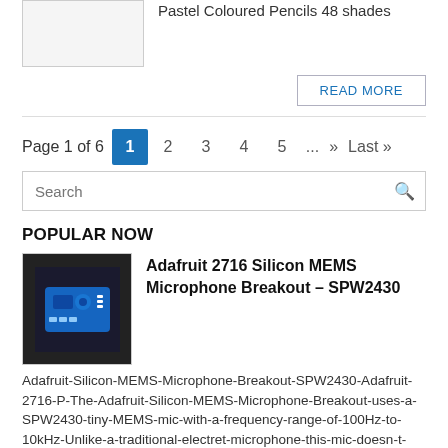[Figure (photo): Partial product image of Pastel Coloured Pencils (top portion only visible)]
Pastel Coloured Pencils 48 shades
READ MORE
Page 1 of 6  1  2  3  4  5  ...  »  Last »
Search
POPULAR NOW
[Figure (photo): Adafruit 2716 Silicon MEMS Microphone Breakout SPW2430 blue circuit board on dark background]
Adafruit 2716 Silicon MEMS Microphone Breakout – SPW2430
Adafruit-Silicon-MEMS-Microphone-Breakout-SPW2430-Adafruit-2716-P-The-Adafruit-Silicon-MEMS-Microphone-Breakout-uses-a-SPW2430-tiny-MEMS-mic-with-a-frequency-range-of-100Hz-to-10kHz-Unlike-a-traditional-electret-microphone-this-mic-doesn-t-require-an-amplifier-or-bias-resistor-it-s-all-in-the-package-It-outputs-approximately-100mVpp-with-a-0-67V-DC-bias-which-is-good-enough-for-a-line-level-input-The-peak-to-peak-voltage-can-go-as-high-as-1Vpp-if-the-sound-is-very-loud-There-s-an-onb Read More »